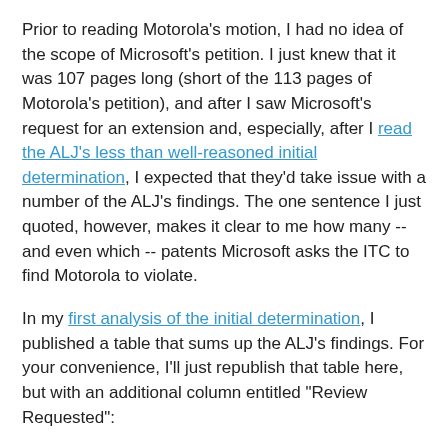Prior to reading Motorola's motion, I had no idea of the scope of Microsoft's petition. I just knew that it was 107 pages long (short of the 113 pages of Motorola's petition), and after I saw Microsoft's request for an extension and, especially, after I read the ALJ's less than well-reasoned initial determination, I expected that they'd take issue with a number of the ALJ's findings. The one sentence I just quoted, however, makes it clear to me how many -- and even which -- patents Microsoft asks the ITC to find Motorola to violate.
In my first analysis of the initial determination, I published a table that sums up the ALJ's findings. For your convenience, I'll just republish that table here, but with an additional column entitled "Review Requested":
| Patent | Deemed Valid | Deemed Infringed | Domestic Industry | Review Requested |
| --- | --- | --- | --- | --- |
| '566 | Yes | Yes | Yes | Yes (by MMI) |